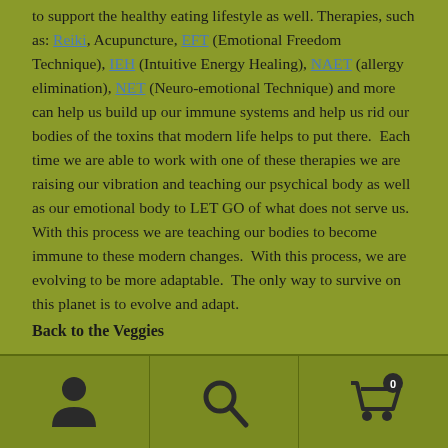to support the healthy eating lifestyle as well. Therapies, such as: Reiki, Acupuncture, EFT (Emotional Freedom Technique), IEH (Intuitive Energy Healing), NAET (allergy elimination), NET (Neuro-emotional Technique) and more can help us build up our immune systems and help us rid our bodies of the toxins that modern life helps to put there.  Each time we are able to work with one of these therapies we are raising our vibration and teaching our psychical body as well as our emotional body to LET GO of what does not serve us. With this process we are teaching our bodies to become immune to these modern changes.  With this process, we are evolving to be more adaptable.  The only way to survive on this planet is to evolve and adapt.
Back to the Veggies
[Figure (other): Mobile navigation footer bar with three icons: user/account icon, search icon, and shopping cart icon with badge showing 0]